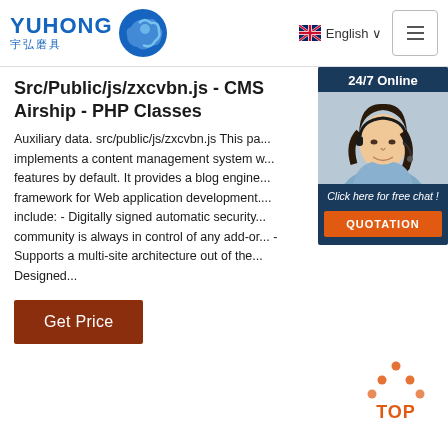YUHONG 宇弘磨具 | English | Menu
Src/Public/js/zxcvbn.js - CMS Airship - PHP Classes
Auxiliary data. src/public/js/zxcvbn.js This pa... implements a content management system w... features by default. It provides a blog engine... framework for Web application development.... include: - Digitally signed automatic security... community is always in control of any add-or... - Supports a multi-site architecture out of the... Designed...
[Figure (photo): Customer service representative with headset, 24/7 Online widget with Click here for free chat and QUOTATION button]
[Figure (other): TOP navigation button icon with orange dots and text]